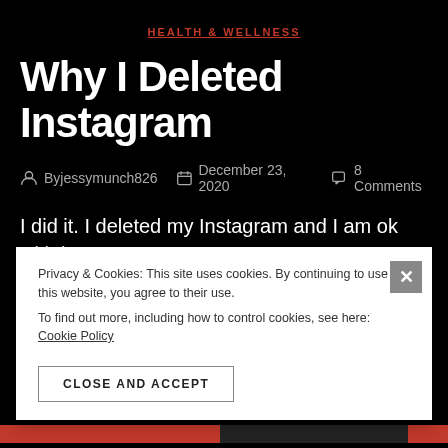HEALTH & WELLNESS
Why I Deleted Instagram
Byjessymunch826   December 23, 2020   8 Comments
I did it. I deleted my Instagram and I am ok with it.
I accidentally deleted my original one and then got a new one. I definitely deleted my facebook over a year ago. I had
Privacy & Cookies: This site uses cookies. By continuing to use this website, you agree to their use.
To find out more, including how to control cookies, see here: Cookie Policy
CLOSE AND ACCEPT